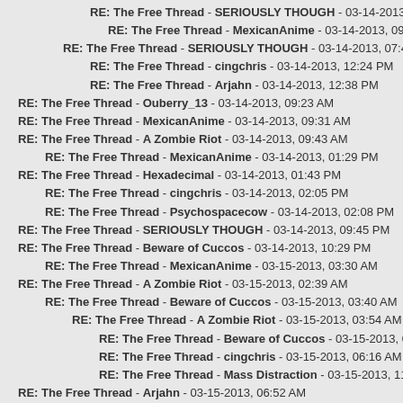RE: The Free Thread - SERIOUSLY THOUGH - 03-14-2013, 08:56 AM
RE: The Free Thread - MexicanAnime - 03-14-2013, 09:22 AM
RE: The Free Thread - SERIOUSLY THOUGH - 03-14-2013, 07:46 AM
RE: The Free Thread - cingchris - 03-14-2013, 12:24 PM
RE: The Free Thread - Arjahn - 03-14-2013, 12:38 PM
RE: The Free Thread - Ouberry_13 - 03-14-2013, 09:23 AM
RE: The Free Thread - MexicanAnime - 03-14-2013, 09:31 AM
RE: The Free Thread - A Zombie Riot - 03-14-2013, 09:43 AM
RE: The Free Thread - MexicanAnime - 03-14-2013, 01:29 PM
RE: The Free Thread - Hexadecimal - 03-14-2013, 01:43 PM
RE: The Free Thread - cingchris - 03-14-2013, 02:05 PM
RE: The Free Thread - Psychospacecow - 03-14-2013, 02:08 PM
RE: The Free Thread - SERIOUSLY THOUGH - 03-14-2013, 09:45 PM
RE: The Free Thread - Beware of Cuccos - 03-14-2013, 10:29 PM
RE: The Free Thread - MexicanAnime - 03-15-2013, 03:30 AM
RE: The Free Thread - A Zombie Riot - 03-15-2013, 02:39 AM
RE: The Free Thread - Beware of Cuccos - 03-15-2013, 03:40 AM
RE: The Free Thread - A Zombie Riot - 03-15-2013, 03:54 AM
RE: The Free Thread - Beware of Cuccos - 03-15-2013, 06:08 AM
RE: The Free Thread - cingchris - 03-15-2013, 06:16 AM
RE: The Free Thread - Mass Distraction - 03-15-2013, 11:25 PM
RE: The Free Thread - Arjahn - 03-15-2013, 06:52 AM
RE: The Free Thread - Hexadecimal - 03-15-2013, 09:50 AM
RE: The Free Thread - Psychospacecow - 03-15-2013, 09:55 AM
RE: The Free Thread - SERIOUSLY THOUGH - 03-15-2013, 10:10 AM